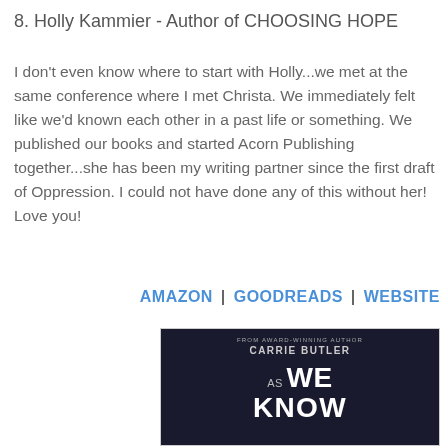8. Holly Kammier - Author of CHOOSING HOPE
I don't even know where to start with Holly...we met at the same conference where I met Christa. We immediately felt like we'd known each other in a past life or something. We published our books and started Acorn Publishing together...she has been my writing partner since the first draft of Oppression. I could not have done any of this without her! Love you!
AMAZON | GOODREADS | WEBSITE
[Figure (photo): Book cover for 'As We Know' by Carrie Butler, dark background with city imagery and large white title text]